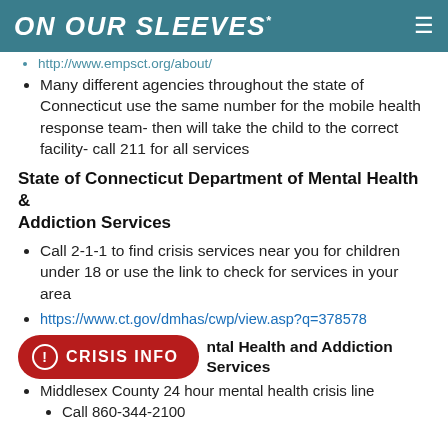ON OUR SLEEVES
http://www.empsct.org/about/
Many different agencies throughout the state of Connecticut use the same number for the mobile health response team- then will take the child to the correct facility- call 211 for all services
State of Connecticut Department of Mental Health & Addiction Services
Call 2-1-1 to find crisis services near you for children under 18 or use the link to check for services in your area
https://www.ct.gov/dmhas/cwp/view.asp?q=378578
Department of Mental Health and Addiction Services
Middlesex County 24 hour mental health crisis line
Call 860-344-2100
[Figure (other): Red pill-shaped CRISIS INFO button with exclamation icon]